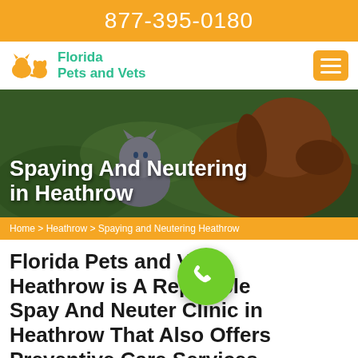877-395-0180
[Figure (logo): Florida Pets and Vets logo with orange pet silhouette icon and teal text]
[Figure (photo): Hero image of a cat and dog in grass with overlay title 'Spaying And Neutering in Heathrow']
Spaying And Neutering in Heathrow
Home > Heathrow > Spaying and Neutering Heathrow
Florida Pets and Vets Heathrow is A Reputable Spay And Neuter Clinic in Heathrow That Also Offers Preventive Care Services. Spaying And Neutering Can